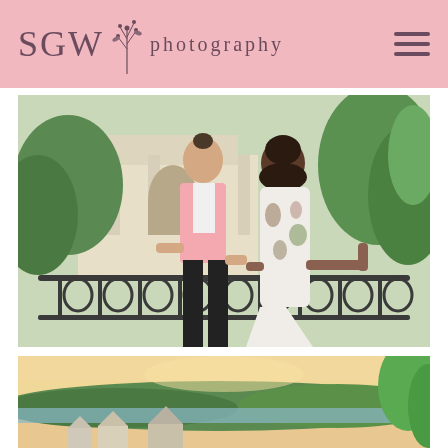SGW PHOTOGRAPHY
[Figure (photo): A couple standing on an ornate iron balcony railing. The man wears a pink blazer and black pants; the woman wears a floral dress. They are holding hands and looking at each other, smiling. In the background are green trees, a white classical building with columns, and greenery.]
[Figure (photo): Partial view of a sunset landscape with a warm peach/golden sky, green trees, a body of water, and rooftops visible in the distance. Green ivy or leaves visible on the right side.]